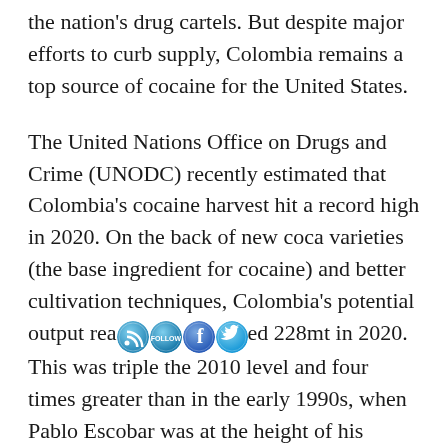the nation's drug cartels. But despite major efforts to curb supply, Colombia remains a top source of cocaine for the United States.
The United Nations Office on Drugs and Crime (UNODC) recently estimated that Colombia's cocaine harvest hit a record high in 2020. On the back of new coca varieties (the base ingredient for cocaine) and better cultivation techniques, Colombia's potential output reached 228mt in 2020. This was triple the 2010 level and four times greater than in the early 1990s, when Pablo Escobar was at the height of his infamy.
[partial text visible at bottom]